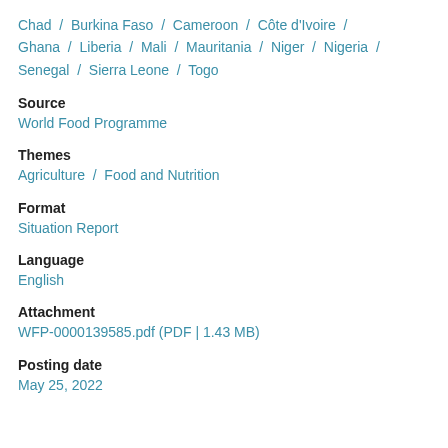Chad / Burkina Faso / Cameroon / Côte d'Ivoire / Ghana / Liberia / Mali / Mauritania / Niger / Nigeria / Senegal / Sierra Leone / Togo
Source
World Food Programme
Themes
Agriculture / Food and Nutrition
Format
Situation Report
Language
English
Attachment
WFP-0000139585.pdf (PDF | 1.43 MB)
Posting date
May 25, 2022